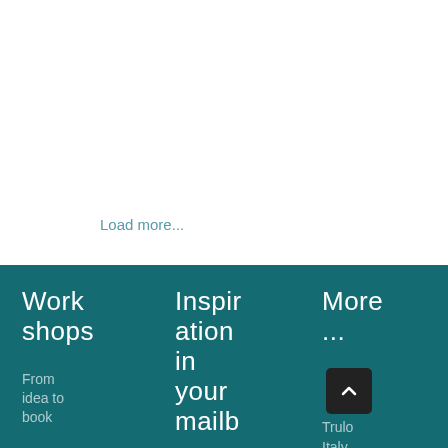[Figure (photo): Vintage-style photograph of a dog (light-colored, possibly a Labrador or similar breed) with a person crouching beside it on sandy ground. The image has warm, muted tones suggesting an old or filtered photo.]
Load more...
Work
shops
From
idea to
book
Inspiration
in
your
mailb
More
...
Trulo
Italy